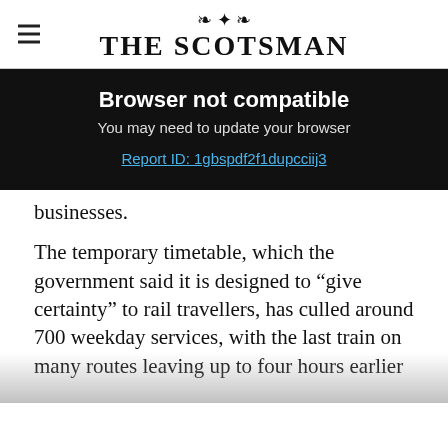THE SCOTSMAN
Browser not compatible
You may need to update your browser
Report ID: 1gbspdf2f1dupcciij3
businesses.
The temporary timetable, which the government said it is designed to “give certainty” to rail travellers, has culled around 700 weekday services, with the last train on many routes leaving up to four hours earlier